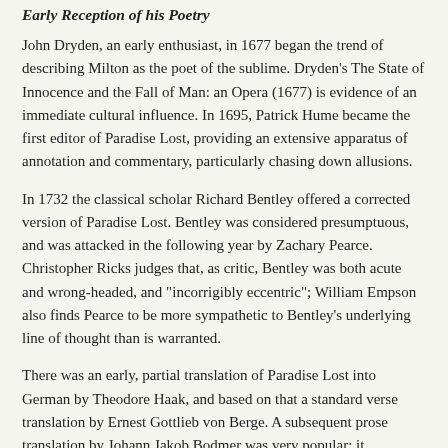Early Reception of his Poetry
John Dryden, an early enthusiast, in 1677 began the trend of describing Milton as the poet of the sublime. Dryden's The State of Innocence and the Fall of Man: an Opera (1677) is evidence of an immediate cultural influence. In 1695, Patrick Hume became the first editor of Paradise Lost, providing an extensive apparatus of annotation and commentary, particularly chasing down allusions.
In 1732 the classical scholar Richard Bentley offered a corrected version of Paradise Lost. Bentley was considered presumptuous, and was attacked in the following year by Zachary Pearce. Christopher Ricks judges that, as critic, Bentley was both acute and wrong-headed, and "incorrigibly eccentric"; William Empson also finds Pearce to be more sympathetic to Bentley's underlying line of thought than is warranted.
There was an early, partial translation of Paradise Lost into German by Theodore Haak, and based on that a standard verse translation by Ernest Gottlieb von Berge. A subsequent prose translation by Johann Jakob Bodmer was very popular; it influenced Friedrich Gottlieb Klopstock. The German-language Milton tradition returned to England in the person of the artist Henry Fuseli.
Many enlightenment thinkers of the 18th century revered and commented on Milton's poetry and non-poetical works. In addition to John Dryden, among them were Alexander Pope, Joseph Addison, Thomas Newton, and Samuel Johnson. For example in The Spectator Joseph Addison wrote extensive notes, annotations, and interpretations of certain passages of Paradise Lost. Jonathan Richardson, senior, and Jonathan Richardson, the younger, co-